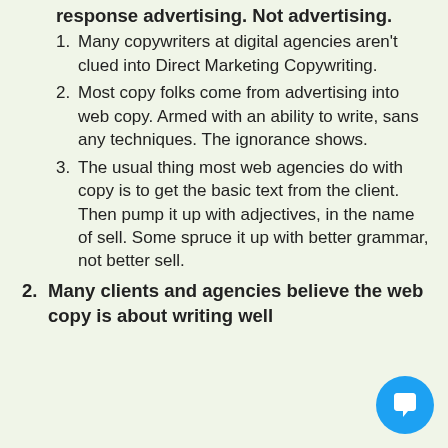1. Sell copy has its origins in direct response advertising. Not advertising.
1. Many copywriters at digital agencies aren't clued into Direct Marketing Copywriting.
2. Most copy folks come from advertising into web copy. Armed with an ability to write, sans any techniques. The ignorance shows.
3. The usual thing most web agencies do with copy is to get the basic text from the client. Then pump it up with adjectives, in the name of sell. Some spruce it up with better grammar, not better sell.
2. Many clients and agencies believe the web copy is about writing well